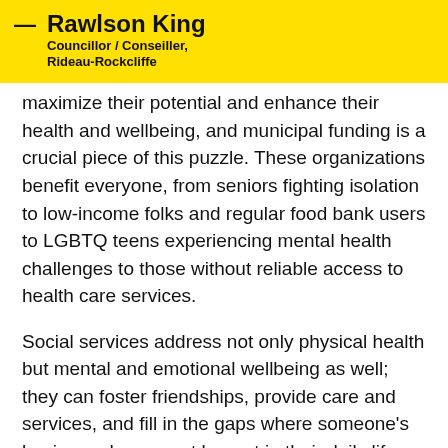Rawlson King — Councillor / Conseiller, Rideau-Rockcliffe
maximize their potential and enhance their health and wellbeing, and municipal funding is a crucial piece of this puzzle. These organizations benefit everyone, from seniors fighting isolation to low-income folks and regular food bank users to LGBTQ teens experiencing mental health challenges to those without reliable access to health care services.
Social services address not only physical health but mental and emotional wellbeing as well; they can foster friendships, provide care and services, and fill in the gaps where someone's basic needs may not be met in their daily life. The impact of social factors such as racism, homophobia, transphobia, and isolation often cannot be addressed by physical health services, but social services organizations are able to create programming that can help